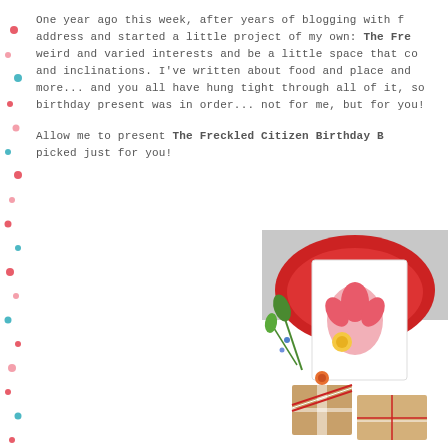One year ago this week, after years of blogging with friends, I got my own address and started a little project of my own: The Freckled Citizen, to hold my weird and varied interests and be a little space that could reflect my tastes and inclinations. I've written about food and place and style and books and more... and you all have hung tight through all of it, so I thought a little birthday present was in order... not for me, but for you!

Allow me to present The Freckled Citizen Birthday Box: a collection of things picked just for you!
[Figure (photo): A birthday gift box arrangement with colorful items including a card with a floral motif in pink and red, green plants/flowers, wrapped parcels tied with red and white twine, and a red patterned background.]